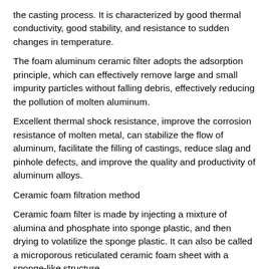the casting process. It is characterized by good thermal conductivity, good stability, and resistance to sudden changes in temperature.
The foam aluminum ceramic filter adopts the adsorption principle, which can effectively remove large and small impurity particles without falling debris, effectively reducing the pollution of molten aluminum.
Excellent thermal shock resistance, improve the corrosion resistance of molten metal, can stabilize the flow of aluminum, facilitate the filling of castings, reduce slag and pinhole defects, and improve the quality and productivity of aluminum alloys.
Ceramic foam filtration method
Ceramic foam filter is made by injecting a mixture of alumina and phosphate into sponge plastic, and then drying to volatilize the sponge plastic. It can also be called a microporous reticulated ceramic foam sheet with a sponge-like structure.